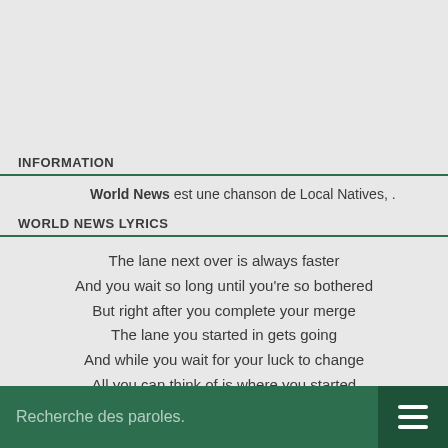INFORMATION
World News est une chanson de Local Natives, .
WORLD NEWS LYRICS
The lane next over is always faster
And you wait so long until you're so bothered
But right after you complete your merge
The lane you started in gets going
And while you wait for your luck to change
All you can think of is where you started
Recherche des paroles.